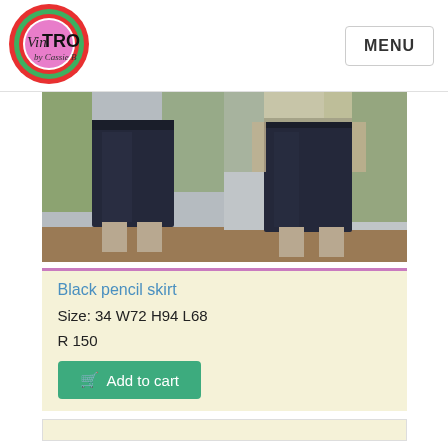[Figure (logo): VinTRO by Cassie B logo — circular badge with pink center, decorative border in red and green with mandala-style pattern, text 'VinTRO by Cassie B']
MENU
[Figure (photo): Two side-by-side photos of a woman wearing a black pencil skirt, shown from waist down, outdoors with greenery background]
Black pencil skirt
Size: 34 W72 H94 L68
R 150
Add to cart